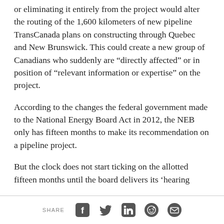or eliminating it entirely from the project would alter the routing of the 1,600 kilometers of new pipeline TransCanada plans on constructing through Quebec and New Brunswick. This could create a new group of Canadians who suddenly are “directly affected” or in position of “relevant information or expertise” on the project.
According to the changes the federal government made to the National Energy Board Act in 2012, the NEB only has fifteen months to make its recommendation on a pipeline project.
But the clock does not start ticking on the allotted fifteen months until the board delivers its ‘hearing
SHARE